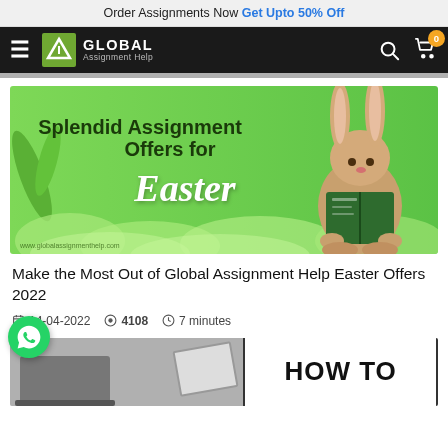Order Assignments Now Get Upto 50% Off
[Figure (logo): Global Assignment Help navigation bar with hamburger menu, logo, search and cart icons]
[Figure (illustration): Promotional Easter banner: green background with clouds, bunny reading a book, text 'Splendid Assignment Offers for Easter', www.globalassignmenthelp.com]
Make the Most Out of Global Assignment Help Easter Offers 2022
14-04-2022  👁 4108  🕐 7 minutes
[Figure (photo): Partial 'HOW TO' image showing a laptop and notebook on the right side]